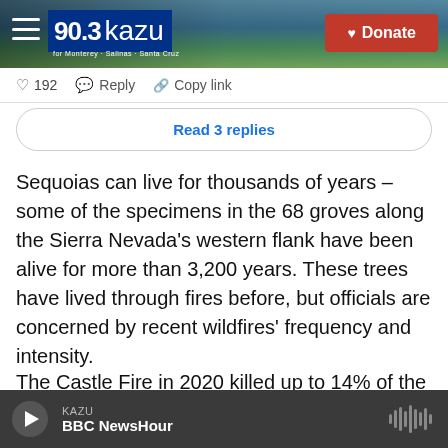[Figure (screenshot): KAZU 90.3 radio station website header with coastal landscape background photo, hamburger menu icon, KAZU logo in blue box, and red Donate button]
[Figure (screenshot): Comment interaction bar showing heart icon with 192 likes, Reply button, and Copy link button]
[Figure (screenshot): Read 3 replies button with rounded border]
Sequoias can live for thousands of years – some of the specimens in the 68 groves along the Sierra Nevada's western flank have been alive for more than 3,200 years. These trees have lived through fires before, but officials are concerned by recent wildfires' frequency and intensity.
The Castle Fire in 2020 killed up to 14% of the large sequoias in the Sierra Nevada area, totaling up to
[Figure (screenshot): KAZU audio player bar at bottom showing play button, KAZU station label, BBC NewsHour show title, and waveform icon]